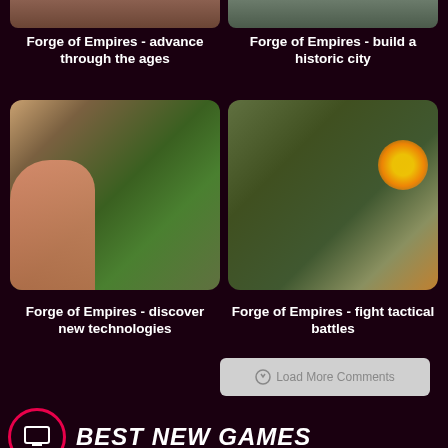[Figure (screenshot): Partial game screenshot top left - Forge of Empires]
[Figure (screenshot): Partial game screenshot top right - Forge of Empires]
Forge of Empires - advance through the ages
Forge of Empires - build a historic city
[Figure (screenshot): Game screenshot showing character and city - Forge of Empires discover new technologies]
[Figure (screenshot): Game screenshot showing battle scene with explosion - Forge of Empires fight tactical battles]
Forge of Empires - discover new technologies
Forge of Empires - fight tactical battles
Load More Comments
BEST NEW GAMES
[Figure (screenshot): Size Up game thumbnail]
[Figure (screenshot): Stickman game thumbnail]
[Figure (screenshot): Dark game thumbnail]
[Figure (screenshot): Fight game thumbnail with colorful circles]